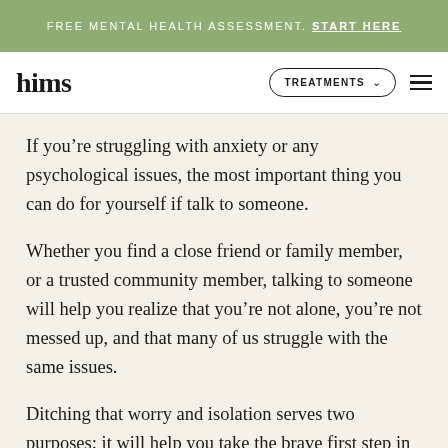FREE MENTAL HEALTH ASSESSMENT. START HERE
[Figure (logo): hims logo with TREATMENTS dropdown and hamburger menu navigation bar]
If you’re struggling with anxiety or any psychological issues, the most important thing you can do for yourself if talk to someone.
Whether you find a close friend or family member, or a trusted community member, talking to someone will help you realize that you’re not alone, you’re not messed up, and that many of us struggle with the same issues.
Ditching that worry and isolation serves two purposes: it will help you take the brave first step in treatment, and it will serve as your first in a growing